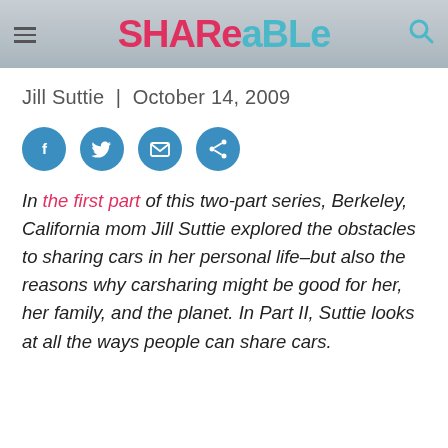SHAREaBLe
Jill Suttie  |  October 14, 2009
[Figure (other): Social sharing buttons: Facebook, Twitter, Email, Share]
In the first part of this two-part series, Berkeley, California mom Jill Suttie explored the obstacles to sharing cars in her personal life–but also the reasons why carsharing might be good for her, her family, and the planet. In Part II, Suttie looks at all the ways people can share cars.